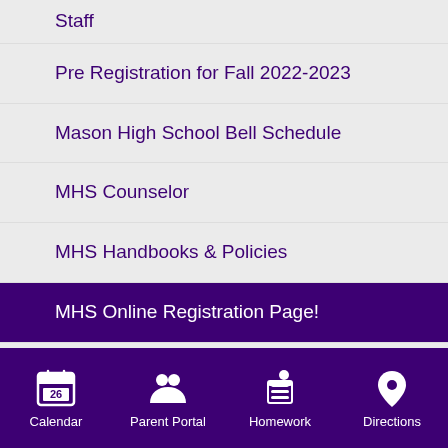Staff
Pre Registration for Fall 2022-2023
Mason High School Bell Schedule
MHS Counselor
MHS Handbooks & Policies
MHS Online Registration Page!
Remind App Info
MHS Library
Attendance
Calendar  Parent Portal  Homework  Directions